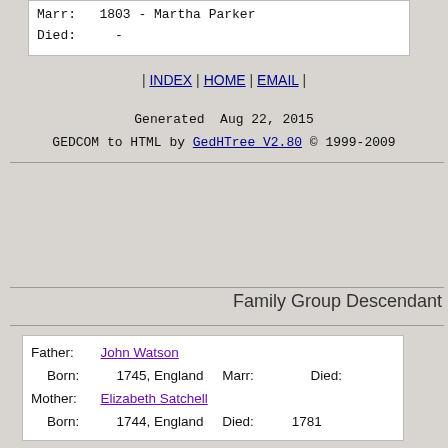Marr:  1803 - Martha Parker
Died:    -
| INDEX | HOME | EMAIL |
Generated  Aug 22, 2015
GEDCOM to HTML by GedHTree V2.80 © 1999-2009
Family Group Descendant
Father:  John Watson
 Born:  1745, England   Marr:        Died:
Mother:  Elizabeth Satchell
 Born:  1744, England   Died:  1781